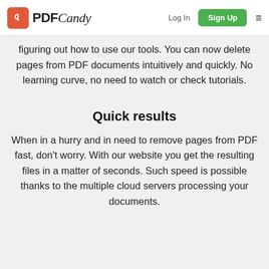PDFCandy | Log In | Sign Up
figuring out how to use our tools. You can now delete pages from PDF documents intuitively and quickly. No learning curve, no need to watch or check tutorials.
Quick results
When in a hurry and in need to remove pages from PDF fast, don't worry. With our website you get the resulting files in a matter of seconds. Such speed is possible thanks to the multiple cloud servers processing your documents.